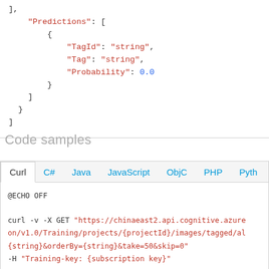],
"Predictions": [
  {
    "TagId": "string",
    "Tag": "string",
    "Probability": 0.0
  }
]
}
]
Code samples
Curl  C#  Java  JavaScript  ObjC  PHP  Pyth
@ECHO OFF

curl -v -X GET "https://chinaeast2.api.cognitive.azure.../on/v1.0/Training/projects/{projectId}/images/tagged/al...{string}&orderBy={string}&take=50&skip=0"
-H "Training-key: {subscription key}"

--data-ascii "{body}"